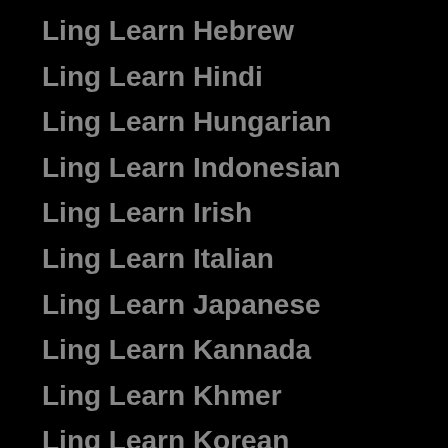Ling Learn Hebrew
Ling Learn Hindi
Ling Learn Hungarian
Ling Learn Indonesian
Ling Learn Irish
Ling Learn Italian
Ling Learn Japanese
Ling Learn Kannada
Ling Learn Khmer
Ling Learn Korean